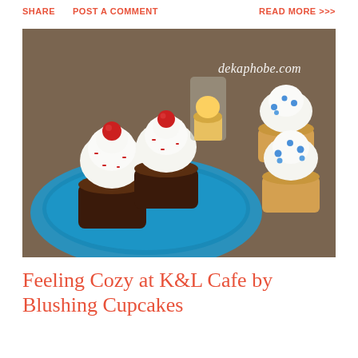SHARE   POST A COMMENT   READ MORE >>>
[Figure (photo): Cupcakes displayed on a blue decorative cake stand — chocolate cupcakes with white frosting and red foil-wrapped cherry toppers with red sprinkles on the left, vanilla cupcakes with white frosting and blue candy dots on the right. Text watermark 'dekaphobe.com' in white italic in the upper right corner.]
Feeling Cozy at K&L Cafe by Blushing Cupcakes